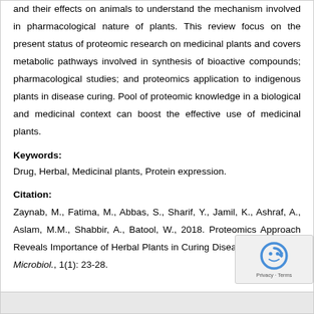and their effects on animals to understand the mechanism involved in pharmacological nature of plants. This review focus on the present status of proteomic research on medicinal plants and covers metabolic pathways involved in synthesis of bioactive compounds; pharmacological studies; and proteomics application to indigenous plants in disease curing. Pool of proteomic knowledge in a biological and medicinal context can boost the effective use of medicinal plants.
Keywords:
Drug, Herbal, Medicinal plants, Protein expression.
Citation:
Zaynab, M., Fatima, M., Abbas, S., Sharif, Y., Jamil, K., Ashraf, A., Aslam, M.M., Shabbir, A., Batool, W., 2018. Proteomics Approach Reveals Importance of Herbal Plants in Curing Diseases. Int. J. Mol. Microbiol., 1(1): 23-28.